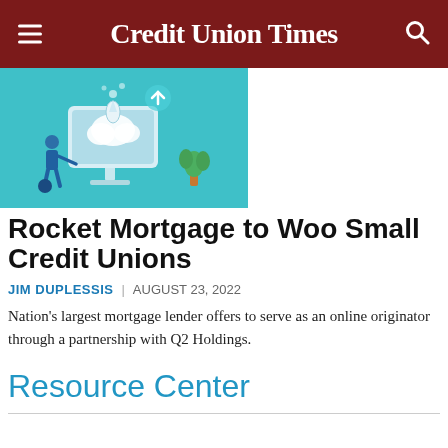Credit Union Times
[Figure (illustration): Illustration of a person pushing a large computer monitor with rockets or bubbles coming from the screen, on a teal/cyan background]
Rocket Mortgage to Woo Small Credit Unions
JIM DUPLESSIS | AUGUST 23, 2022
Nation's largest mortgage lender offers to serve as an online originator through a partnership with Q2 Holdings.
Resource Center